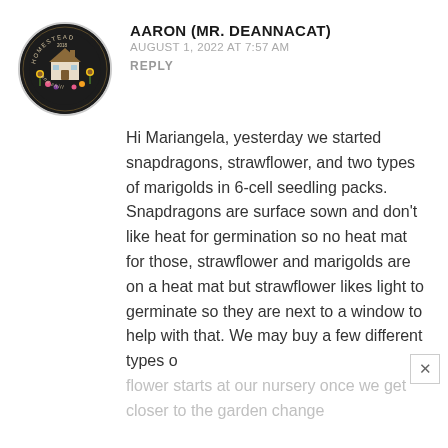[Figure (logo): Circular logo for Homestead and Chill blog with floral design and cottage illustration]
AARON (MR. DEANNACAT)
AUGUST 1, 2022 AT 7:57 AM
REPLY
Hi Mariangela, yesterday we started snapdragons, strawflower, and two types of marigolds in 6-cell seedling packs. Snapdragons are surface sown and don't like heat for germination so no heat mat for those, strawflower and marigolds are on a heat mat but strawflower likes light to germinate so they are next to a window to help with that. We may buy a few different types of flower starts at our nursery once we get closer to the garden change